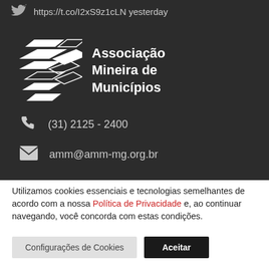https://t.co/I2xS9z1cLN yesterday
[Figure (logo): Associação Mineira de Municípios logo — white geometric hexagonal arrow shapes with the organization name in white bold text]
(31) 2125 - 2400
amm@amm-mg.org.br
Utilizamos cookies essenciais e tecnologias semelhantes de acordo com a nossa Política de Privacidade e, ao continuar navegando, você concorda com estas condições.
Configurações de Cookies
Aceitar